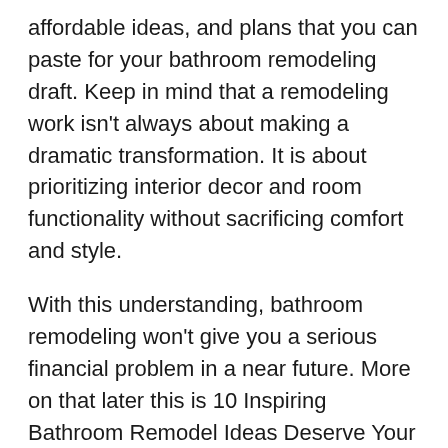affordable ideas, and plans that you can paste for your bathroom remodeling draft. Keep in mind that a remodeling work isn't always about making a dramatic transformation. It is about prioritizing interior decor and room functionality without sacrificing comfort and style.
With this understanding, bathroom remodeling won't give you a serious financial problem in a near future. More on that later this is 10 Inspiring Bathroom Remodel Ideas Deserve Your Attention by simphome.com
10.Open Vanity Shelves ↳